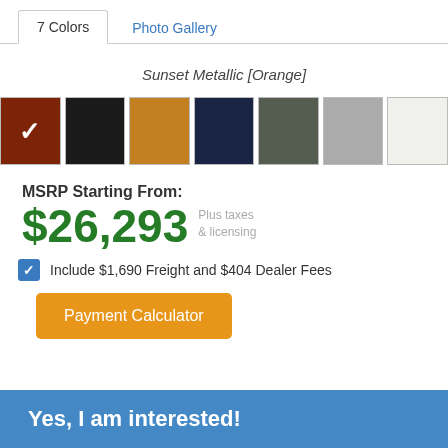7 Colors
Photo Gallery
Sunset Metallic [Orange]
[Figure (illustration): Seven color swatches: rust/brown (selected with checkmark), black, gold/amber, navy blue, dark gray, silver/light gray, off-white]
MSRP Starting From:
Plus taxes & licensing
$26,293
Include $1,690 Freight and $404 Dealer Fees
Payment Calculator
Yes, I am interested!